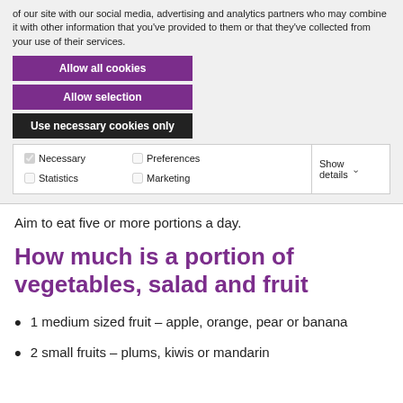of our site with our social media, advertising and analytics partners who may combine it with other information that you've provided to them or that they've collected from your use of their services.
Allow all cookies
Allow selection
Use necessary cookies only
| ✓ Necessary | Preferences | Statistics | Show details ∨ |
| Marketing |  |  |  |
Aim to eat five or more portions a day.
How much is a portion of vegetables, salad and fruit
1 medium sized fruit – apple, orange, pear or banana
2 small fruits – plums, kiwis or mandarin